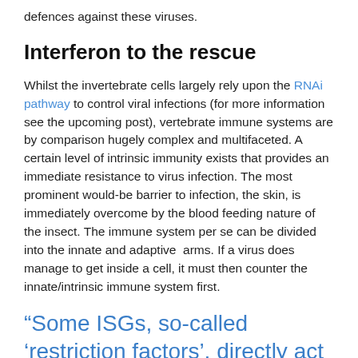defences against these viruses.
Interferon to the rescue
Whilst the invertebrate cells largely rely upon the RNAi pathway to control viral infections (for more information see the upcoming post), vertebrate immune systems are by comparison hugely complex and multifaceted. A certain level of intrinsic immunity exists that provides an immediate resistance to virus infection. The most prominent would-be barrier to infection, the skin, is immediately overcome by the blood feeding nature of the insect. The immune system per se can be divided into the innate and adaptive  arms. If a virus does manage to get inside a cell, it must then counter the innate/intrinsic immune system first.
“Some ISGs, so-called ‘restriction factors’, directly act to antagonise the virus infection, preventing its